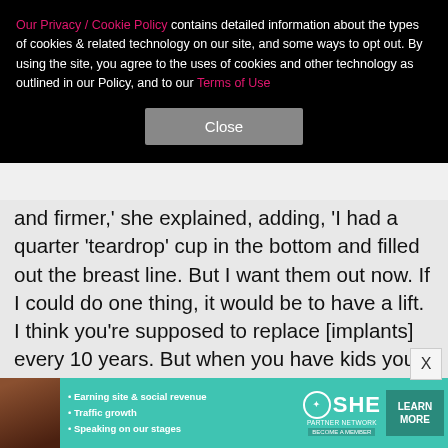Our Privacy / Cookie Policy contains detailed information about the types of cookies & related technology on our site, and some ways to opt out. By using the site, you agree to the uses of cookies and other technology as outlined in our Policy, and to our Terms of Use
Close
and firmer,' she explained, adding, 'I had a quarter 'teardrop' cup in the bottom and filled out the breast line. But I want them out now. If I could do one thing, it would be to have a lift. I think you're supposed to replace [implants] every 10 years. But when you have kids you think about [the risks] of surgery and I think, 'This is not the way I want to die, in boob surgery."' But the same year, Chrissy decided to go for it. See the results of her implant-removal surgery next…
[Figure (infographic): SHE Partner Network advertisement banner with woman photo, bullet points: Earning site & social revenue, Traffic growth, Speaking on our stages, SHE logo, LEARN MORE button, BECOME A MEMBER text]